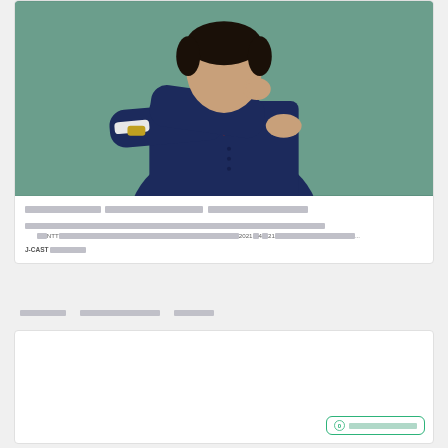[Figure (photo): Man in dark navy suit with arms crossed, posing against a teal/green background]
░░░░░░░░░░░░ ░░░░░░░░░░░░░░ ░░░░░░░░░░░░░░░
░░░░░░░░░░░░░░░░░░░░░░░░░░░░░░░░░░░░░░░░░░░░░░░░░░░░░░░░░░░░░░░░░░░░░░░░░░░░░░░░░░░░░░░░※░░░░░░   ░NTT░░░░░░░░░░░░░░░░░░░░░░░░░░░░░░░░░░2021░4░21░░░░░░░░░░░░░░░░...
J-CAST ░░░░░░
░░░░░░░  ░░░░░░░░░░░░░░░  ░░░░░░